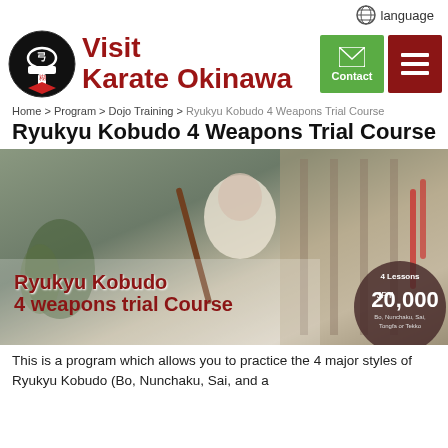language
Visit Karate Okinawa
Home > Program > Dojo Training > Ryukyu Kobudo 4 Weapons Trial Course
Ryukyu Kobudo 4 Weapons Trial Course
[Figure (photo): Instructor in white gi holding a bo staff weapon, seated in a dojo with weapons displayed in the background. Overlay text reads: Ryukyu Kobudo 4 weapons trial Course. Price badge: 4 Lessons JPY 20,000 Bo, Nunchaku, Sai, Tongfa or Tekko]
This is a program which allows you to practice the 4 major styles of Ryukyu Kobudo (Bo, Nunchaku, Sai, and a